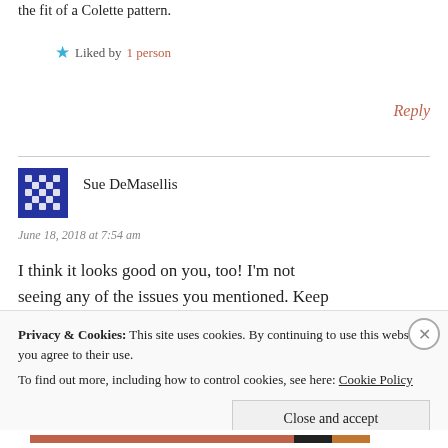the fit of a Colette pattern.
★ Liked by 1 person
Reply
Sue DeMasellis
June 18, 2018 at 7:54 am
I think it looks good on you, too! I'm not seeing any of the issues you mentioned. Keep
Privacy & Cookies: This site uses cookies. By continuing to use this website, you agree to their use. To find out more, including how to control cookies, see here: Cookie Policy
Close and accept